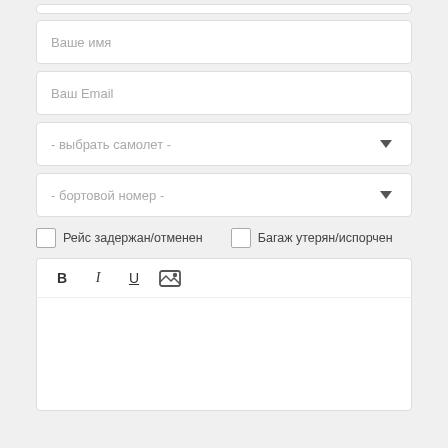[Figure (screenshot): Web form with input fields: name, email, two dropdowns (select airplane, board number), checkboxes for flight delay/cancelled and baggage lost/damaged, text editor toolbar with Bold/Italic/Underline/Image buttons, and a text area.]
Ваше имя
Ваш Email
- выбрать самолет -
- бортовой номер -
Рейс задержан/отменен
Багаж утерян/испорчен